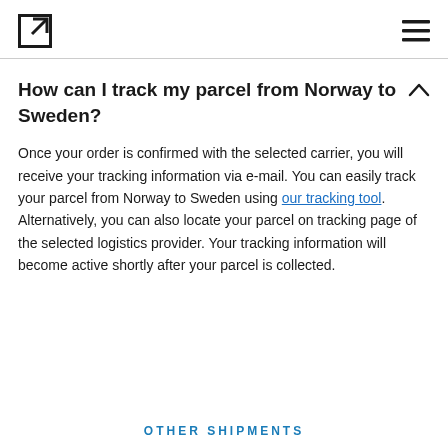[Figure (logo): Square logo icon with external link arrow in top-right corner]
[Figure (other): Hamburger menu icon (three horizontal lines)]
How can I track my parcel from Norway to Sweden?
Once your order is confirmed with the selected carrier, you will receive your tracking information via e-mail. You can easily track your parcel from Norway to Sweden using our tracking tool. Alternatively, you can also locate your parcel on tracking page of the selected logistics provider. Your tracking information will become active shortly after your parcel is collected.
OTHER SHIPMENTS